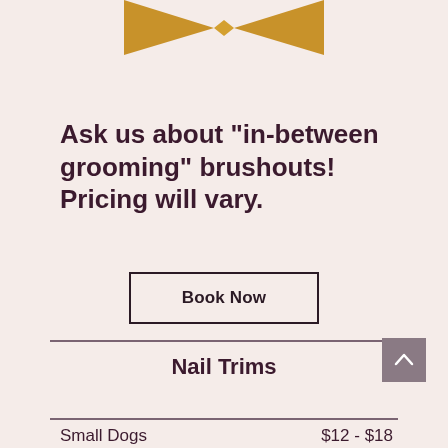[Figure (illustration): Golden/amber bow tie shape at top center of page]
Ask us about "in-between grooming" brushouts! Pricing will vary.
Book Now
Nail Trims
| Service | Price |
| --- | --- |
| Small Dogs | $12 - $18 |